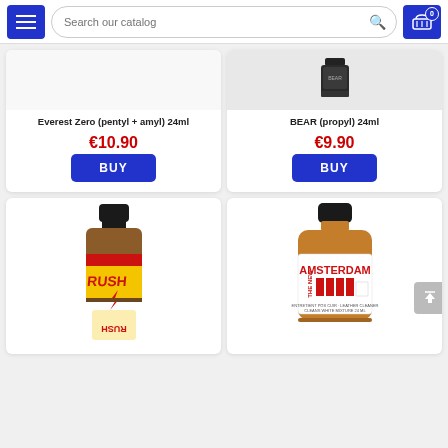Search our catalog
[Figure (photo): Product card: Everest Zero (pentyl + amyl) 24ml, price €10.90, BUY button]
[Figure (photo): Product card: BEAR (propyl) 24ml, price €9.90, BUY button]
[Figure (photo): Product image: RUSH bottle with yellow and red label]
[Figure (photo): Product image: Amsterdam The New bottle]